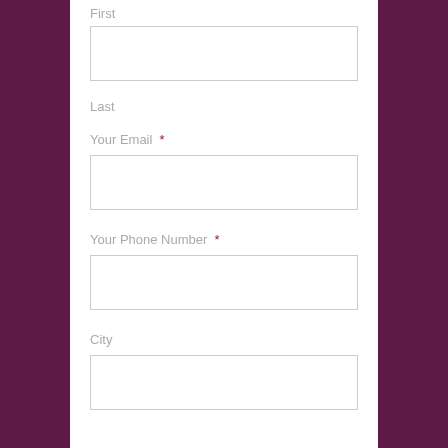First
[Figure (other): Empty text input field for First name]
Last
Your Email *
[Figure (other): Empty text input field for Email]
Your Phone Number *
[Figure (other): Empty text input field for Phone Number]
City
[Figure (other): Empty text input field for City]